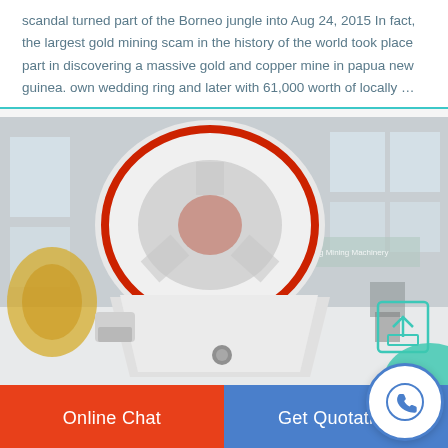scandal turned part of the Borneo jungle into Aug 24, 2015 In fact, the largest gold mining scam in the history of the world took place part in discovering a massive gold and copper mine in papua new guinea. own wedding ring and later with 61,000 worth of locally …
[Figure (photo): Industrial mining machinery (jaw crusher) in a large factory/warehouse setting. The machine is white with red circular accents. Chinese text and 'Leading Mining Machinery' visible in background.]
Online Chat
Get Quotation